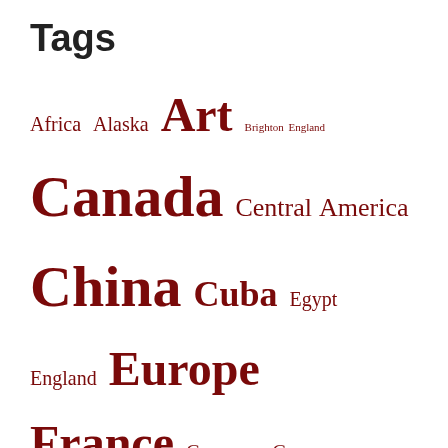Tags
Africa Alaska Art Brighton England Canada Central America China Cuba Egypt England Europe France Germany Greece Guatemala Home Hungary India Israel Italy Japan Madrid Mexico Nepal New York City Niagara Ontario Oregon Paris Paris France Philippines Poland Puerto Rico Sahara Singapore South Korea Spain Syria Thailand Tibet travel Turkey Veranasi Vietnam …